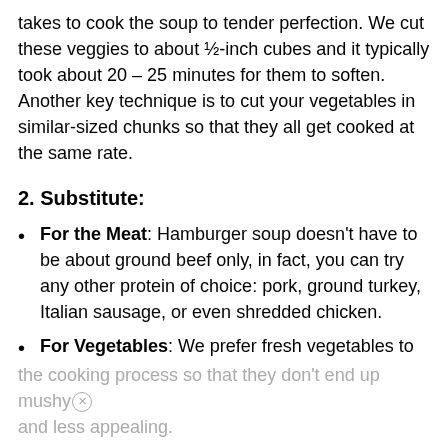takes to cook the soup to tender perfection. We cut these veggies to about ½-inch cubes and it typically took about 20 – 25 minutes for them to soften. Another key technique is to cut your vegetables in similar-sized chunks so that they all get cooked at the same rate.
2. Substitute:
For the Meat: Hamburger soup doesn't have to be about ground beef only, in fact, you can try any other protein of choice: pork, ground turkey, Italian sausage, or even shredded chicken.
For Vegetables: We prefer fresh vegetables to maximize the natural flavor and nutritional value, but you can go with frozen variants. Frozen vegetables usually cook quicker, so only add them in at the end of the cooking process so that they don't end up mushy and less appealing.